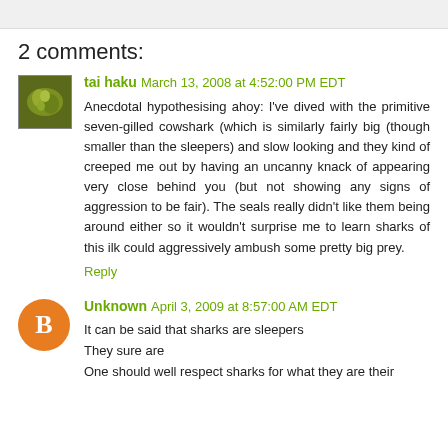2 comments:
tai haku  March 13, 2008 at 4:52:00 PM EDT
Anecdotal hypothesising ahoy: I've dived with the primitive seven-gilled cowshark (which is similarly fairly big (though smaller than the sleepers) and slow looking and they kind of creeped me out by having an uncanny knack of appearing very close behind you (but not showing any signs of aggression to be fair). The seals really didn't like them being around either so it wouldn't surprise me to learn sharks of this ilk could aggressively ambush some pretty big prey.
Reply
Unknown  April 3, 2009 at 8:57:00 AM EDT
It can be said that sharks are sleepers
They sure are
One should well respect sharks for what they are  their